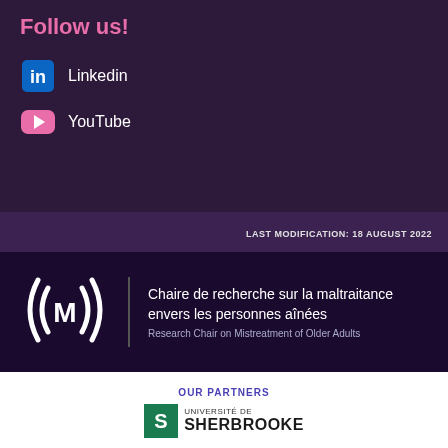Follow us!
Linkedin
YouTube
LAST MODIFICATION: 18 AUGUST 2022
[Figure (logo): Research Chair on Mistreatment of Older Adults logo with radiating M symbol and French/English text: Chaire de recherche sur la maltraitance envers les personnes aînées / Research Chair on Mistreatment of Older Adults]
OUR PARTNERS
[Figure (logo): Université de Sherbrooke logo with green square containing stylized S and full institution name]